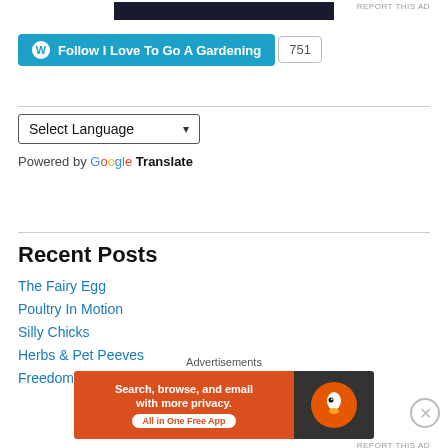[Figure (other): Dark advertisement banner at top of page]
REPORT THIS AD
[Figure (other): WordPress Follow button: Follow I Love To Go A Gardening, with follower count 751]
Select Language dropdown
Powered by Google Translate
Recent Posts
The Fairy Egg
Poultry In Motion
Silly Chicks
Herbs & Pet Peeves
Freedom
Advertisements
[Figure (other): DuckDuckGo advertisement banner: Search, browse, and email with more privacy. All in One Free App]
REPORT THIS AD